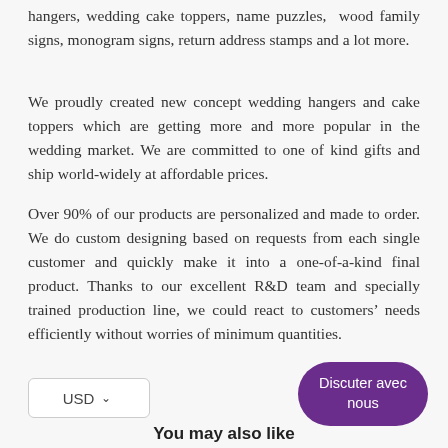hangers, wedding cake toppers, name puzzles,  wood family signs, monogram signs, return address stamps and a lot more.
We proudly created new concept wedding hangers and cake toppers which are getting more and more popular in the wedding market. We are committed to one of kind gifts and ship world-widely at affordable prices.
Over 90% of our products are personalized and made to order. We do custom designing based on requests from each single customer and quickly make it into a one-of-a-kind final product. Thanks to our excellent R&D team and specially trained production line, we could react to customers' needs efficiently without worries of minimum quantities.
USD
Discuter avec nous
You may also like